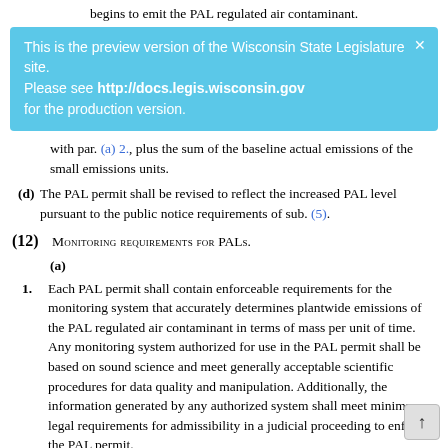begins to emit the PAL regulated air contaminant.
This is the preview version of the Wisconsin State Legislature site. Please see http://docs.legis.wisconsin.gov for the production version.
with par. (a) 2., plus the sum of the baseline actual emissions of the small emissions units.
(d) The PAL permit shall be revised to reflect the increased PAL level pursuant to the public notice requirements of sub. (5).
(12) MONITORING REQUIREMENTS FOR PALs.
(a)
1. Each PAL permit shall contain enforceable requirements for the monitoring system that accurately determines plantwide emissions of the PAL regulated air contaminant in terms of mass per unit of time. Any monitoring system authorized for use in the PAL permit shall be based on sound science and meet generally acceptable scientific procedures for data quality and manipulation. Additionally, the information generated by any authorized system shall meet minimum legal requirements for admissibility in a judicial proceeding to enforce the PAL permit.
2. Except as provided for in subd. 3., the PAL monitoring system shall employ one or more of the 4 general